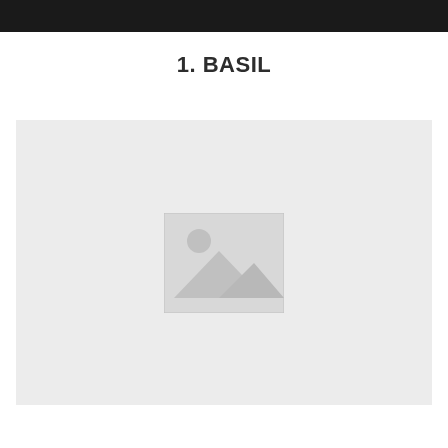1. BASIL
[Figure (photo): Placeholder image box with a landscape image icon (mountain and sun silhouette) on a light grey background]